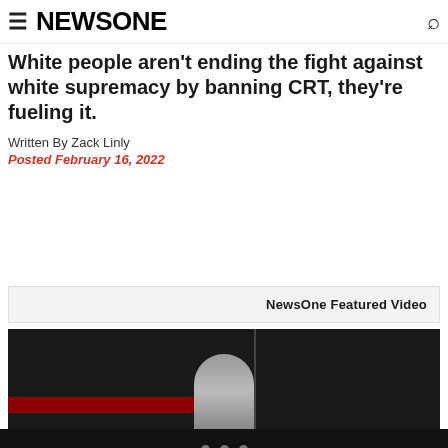NEWSONE
White people aren't ending the fight against white supremacy by banning CRT, they're fueling it.
Written By Zack Linly
Posted February 16, 2022
NewsOne Featured Video
[Figure (photo): Photograph of a person seated at what appears to be a hearing or event, partially visible, with a red banner/sign below and a dark background with a vertical divider]